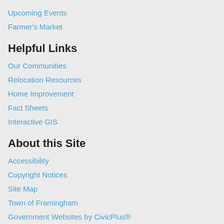Upcoming Events
Farmer's Market
Helpful Links
Our Communities
Relocation Resources
Home Improvement
Fact Sheets
Interactive GIS
About this Site
Accessibility
Copyright Notices
Site Map
Town of Framingham
Government Websites by CivicPlus®